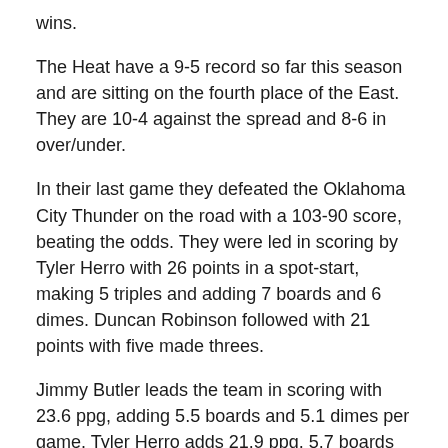wins.
The Heat have a 9-5 record so far this season and are sitting on the fourth place of the East. They are 10-4 against the spread and 8-6 in over/under.
In their last game they defeated the Oklahoma City Thunder on the road with a 103-90 score, beating the odds. They were led in scoring by Tyler Herro with 26 points in a spot-start, making 5 triples and adding 7 boards and 6 dimes. Duncan Robinson followed with 21 points with five made threes.
Jimmy Butler leads the team in scoring with 23.6 ppg, adding 5.5 boards and 5.1 dimes per game. Tyler Herro adds 21.9 ppg, 5.7 boards and 3.9 dimes per game.
Miami score 110.1 ppg offensively while allowing 103 ppg defensively. They have a 46% field goal percentage and a